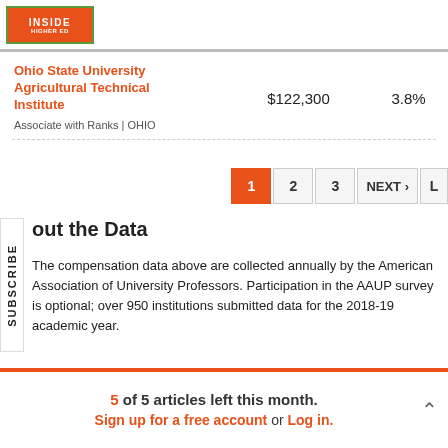Inside Higher Ed
| Institution | Salary | Change |
| --- | --- | --- |
| Ohio State University Agricultural Technical Institute | Associate with Ranks | OHIO | $122,300 | 3.8% |
1 2 3 NEXT › L
About the Data
The compensation data above are collected annually by the American Association of University Professors. Participation in the AAUP survey is optional; over 950 institutions submitted data for the 2018-19 academic year.
5 of 5 articles left this month. Sign up for a free account or Log in.